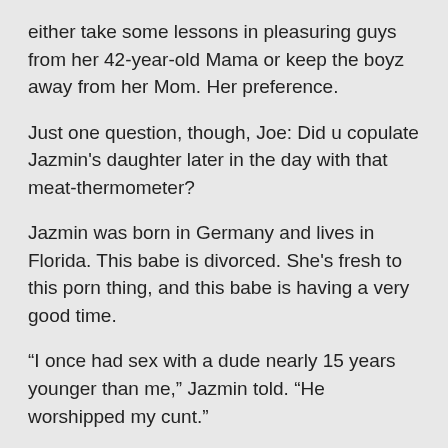either take some lessons in pleasuring guys from her 42-year-old Mama or keep the boyz away from her Mom. Her preference.
Just one question, though, Joe: Did u copulate Jazmin's daughter later in the day with that meat-thermometer?
Jazmin was born in Germany and lives in Florida. This babe is divorced. She's fresh to this porn thing, and this babe is having a very good time.
“I once had sex with a dude nearly 15 years younger than me,” Jazmin told. “He worshipped my cunt.”
Well, guess what, Jazmin? Joe is younger than this woman chaser.
Jazmin isn’t a swinger, but this babe still manages to